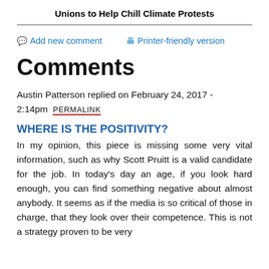Unions to Help Chill Climate Protests
Add new comment   Printer-friendly version
Comments
Austin Patterson replied on February 24, 2017 - 2:14pm PERMALINK
WHERE IS THE POSITIVITY?
In my opinion, this piece is missing some very vital information, such as why Scott Pruitt is a valid candidate for the job. In today's day an age, if you look hard enough, you can find something negative about almost anybody. It seems as if the media is so critical of those in charge, that they look over their competence. This is not a strategy proven to be very